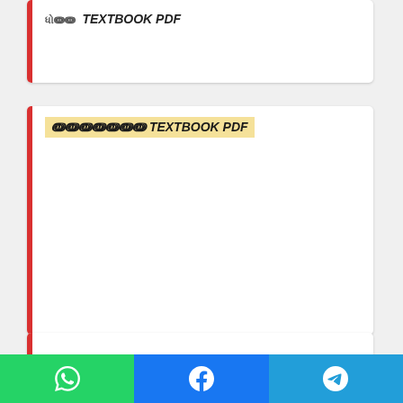[Figure (screenshot): Card box 1 with red left border, containing small Gujarati text and TEXTBOOK PDF in italic bold]
[Figure (screenshot): Card box 2 with red left border, containing Gujarati text label with yellow highlight and TEXTBOOK PDF italic bold]
[Figure (screenshot): Card box 3 with red left border, empty content area]
GSSTB Gujarat Board Books in English & Gujarati Mediums
Candidates can use the GSEB textbooks to prepare their
[Figure (infographic): Bottom social share bar with WhatsApp (green), Facebook (blue), Telegram (blue) icon buttons]